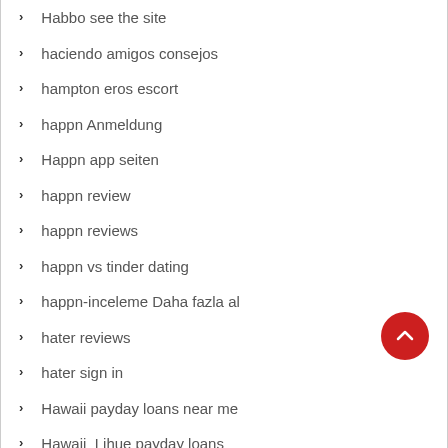Habbo see the site
haciendo amigos consejos
hampton eros escort
happn Anmeldung
Happn app seiten
happn review
happn reviews
happn vs tinder dating
happn-inceleme Daha fazla al
hater reviews
hater sign in
Hawaii payday loans near me
Hawaii_Lihue payday loans
Health & FitnessMedicine
Health & FitnessWeight Loss